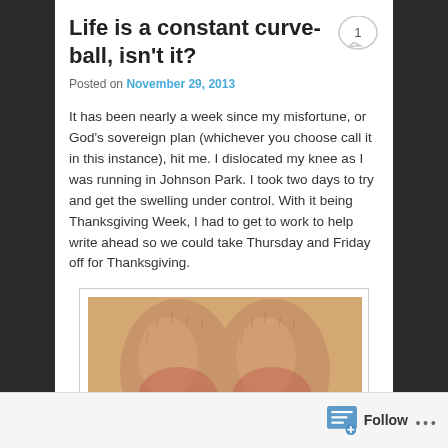Life is a constant curve-ball, isn't it?
Posted on November 29, 2013
It has been nearly a week since my misfortune, or God's sovereign plan (whichever you choose call it in this instance), hit me. I dislocated my knee as I was running in Johnson Park. I took two days to try and get the swelling under control. With it being Thanksgiving Week, I had to get to work to help write ahead so we could take Thursday and Friday off for Thanksgiving.
[Figure (photo): Photo of two knees side by side, showing swelling or discoloration, placed against an orange/tan background.]